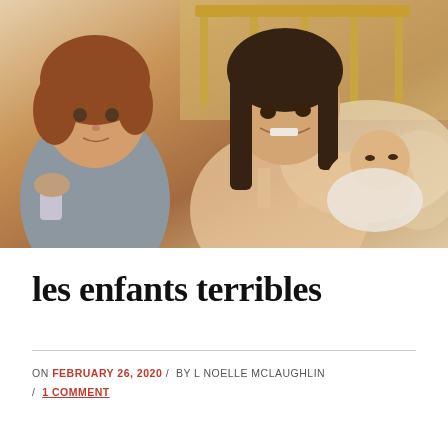[Figure (photo): Vintage/retro photograph of three children: a young girl with curly reddish-brown hair on the left holding a small blue object, an older girl with dark brown hair in the center smiling, holding a newborn baby in her arms. Warm toned, appears to be from the 1970s or 1980s.]
les enfants terribles
ON FEBRUARY 26, 2020 / BY L NOELLE MCLAUGHLIN / 1 COMMENT